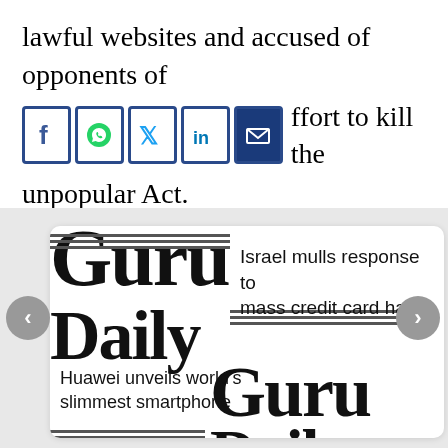lawful websites and accused of opponents of [social icons] pressings as an effort to kill the unpopular Act.
BUSINESS LAW FEATURES
[Figure (screenshot): A carousel widget showing news items from 'Guru Daily' publication. Left carousel arrow button visible. Two headlines visible: 'Israel mulls response to mass credit card hack' and 'Huawei unveils world's slimmest smartphone'. Large overlapping 'Guru' and 'Daily' logotype text partially visible.]